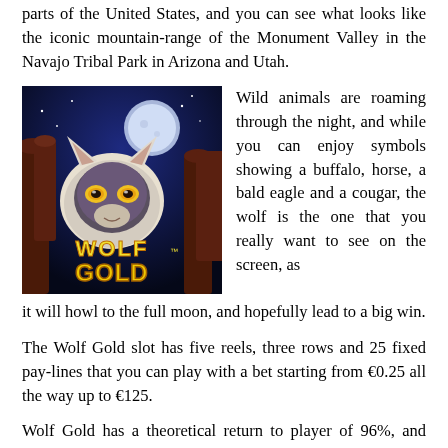parts of the United States, and you can see what looks like the iconic mountain-range of the Monument Valley in the Navajo Tribal Park in Arizona and Utah.
[Figure (illustration): Wolf Gold slot game promotional image showing a wolf with glowing eyes against a night sky with moon and Monument Valley rock formations, with 'WOLF GOLD' text in stylized lettering]
Wild animals are roaming through the night, and while you can enjoy symbols showing a buffalo, horse, a bald eagle and a cougar, the wolf is the one that you really want to see on the screen, as it will howl to the full moon, and hopefully lead to a big win.
The Wolf Gold slot has five reels, three rows and 25 fixed pay-lines that you can play with a bet starting from €0.25 all the way up to €125.
Wolf Gold has a theoretical return to player of 96%, and with a medium volatility, the slot is a suitable game for all types of players.
Play Wolf Gold at these recommended online casinos
We've selected some of the best online casinos with